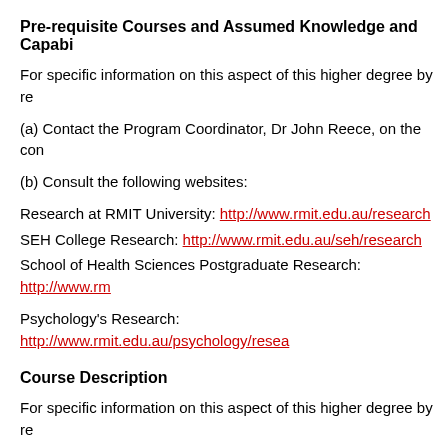Pre-requisite Courses and Assumed Knowledge and Capabi...
For specific information on this aspect of this higher degree by re...
(a) Contact the Program Coordinator, Dr John Reece, on the con...
(b) Consult the following websites:
Research at RMIT University: http://www.rmit.edu.au/research
SEH College Research: http://www.rmit.edu.au/seh/research
School of Health Sciences Postgraduate Research: http://www.r...
Psychology's Research: http://www.rmit.edu.au/psychology/resea...
Course Description
For specific information on this aspect of this higher degree by re...
(a) Contact the Program Coordinator, Dr John Reece, on the con...
(b) Consult the following websites: